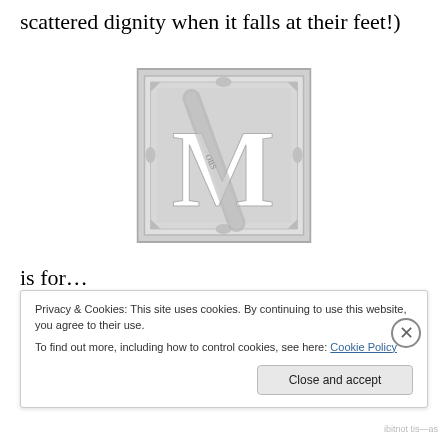scattered dignity when it falls at their feet!)
[Figure (illustration): Decorative letter M in a square ornamental frame with floral/geometric border, rendered in grey tones]
is for…
Moving on! I've mopped and cleaned the floor (Yummy snacks didn't agree with happy puppies. Thank goodness
Privacy & Cookies: This site uses cookies. By continuing to use this website, you agree to their use.
To find out more, including how to control cookies, see here: Cookie Policy
Close and accept